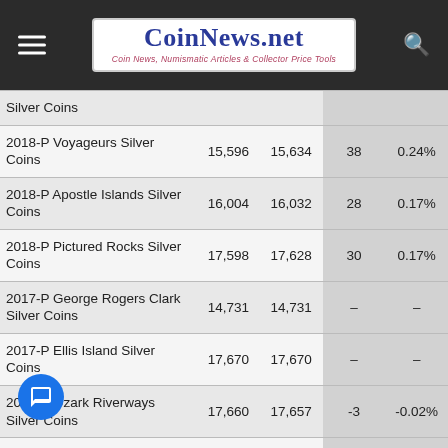CoinNews.net — Coin News, Numismatic Articles & Collector Price Tools
| Coin | Previous | Current | Change | % Change |
| --- | --- | --- | --- | --- |
| Silver Coins |  |  |  |  |
| 2018-P Voyageurs Silver Coins | 15,596 | 15,634 | 38 | 0.24% |
| 2018-P Apostle Islands Silver Coins | 16,004 | 16,032 | 28 | 0.17% |
| 2018-P Pictured Rocks Silver Coins | 17,598 | 17,628 | 30 | 0.17% |
| 2017-P George Rogers Clark Silver Coins | 14,731 | 14,731 | – | – |
| 2017-P Ellis Island Silver Coins | 17,670 | 17,670 | – | – |
| 2017-P Ozark Riverways Silver Coins | 17,660 | 17,657 | -3 | -0.02% |
| 2017-P Frederick Douglass Silver Coins | 17,678 | 17,678 | – | – |
| 2017-P Effigy Mounds Silver Coins | 17,065 | 17,078 | 13 | 0.08% |